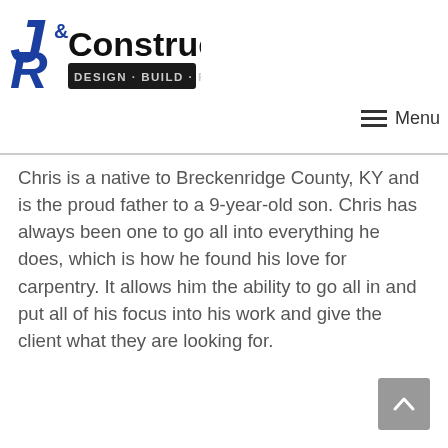J&R Construction Design Build Remodel
Chris is a native to Breckenridge County, KY and is the proud father to a 9-year-old son. Chris has always been one to go all into everything he does, which is how he found his love for carpentry. It allows him the ability to go all in and put all of his focus into his work and give the client what they are looking for.